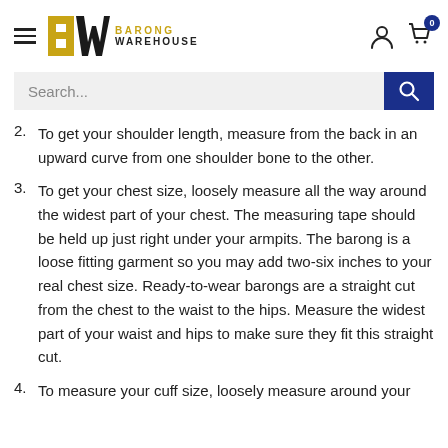Barong Warehouse
2. To get your shoulder length, measure from the back in an upward curve from one shoulder bone to the other.
3. To get your chest size, loosely measure all the way around the widest part of your chest. The measuring tape should be held up just right under your armpits. The barong is a loose fitting garment so you may add two-six inches to your real chest size. Ready-to-wear barongs are a straight cut from the chest to the waist to the hips. Measure the widest part of your waist and hips to make sure they fit this straight cut.
4. To measure your cuff size, loosely measure around your